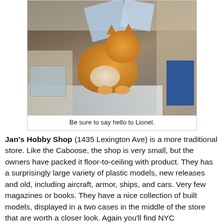[Figure (photo): A orange/tabby cat sitting on a glass display counter inside a hobby shop, surrounded by model kits, boxes, and merchandise.]
Be sure to say hello to Lionel.
Jan's Hobby Shop (1435 Lexington Ave) is a more traditional store. Like the Caboose, the shop is very small, but the owners have packed it floor-to-ceiling with product. They has a surprisingly large variety of plastic models, new releases and old, including aircraft, armor, ships, and cars. Very few magazines or books. They have a nice collection of built models, displayed in a two cases in the middle of the store that are worth a closer look. Again you'll find NYC